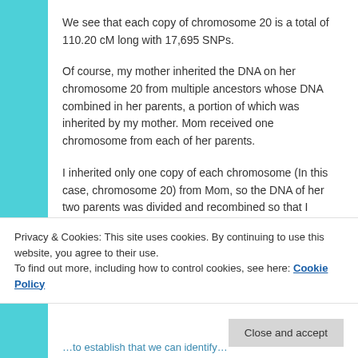We see that each copy of chromosome 20 is a total of 110.20 cM long with 17,695 SNPs.
Of course, my mother inherited the DNA on her chromosome 20 from multiple ancestors whose DNA combined in her parents, a portion of which was inherited by my mother. Mom received one chromosome from each of her parents.
I inherited only one copy of each chromosome (In this case, chromosome 20) from Mom, so the DNA of her two parents was divided and recombined so that I inherited a portion of my maternal chromosome 20 from both of my maternal grandparents.
Privacy & Cookies: This site uses cookies. By continuing to use this website, you agree to their use.
To find out more, including how to control cookies, see here: Cookie Policy
Close and accept
...to establish that we can identify...